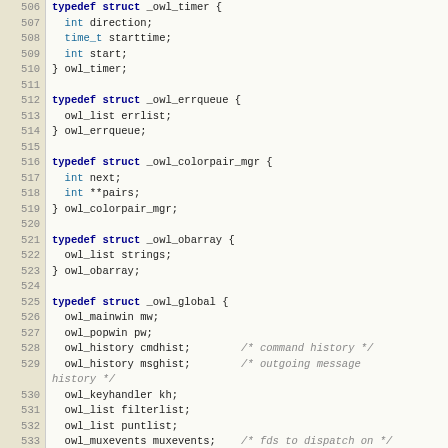Source code listing lines 506-537 showing C typedef struct definitions for owl_timer, owl_errqueue, owl_colorpair_mgr, owl_obarray, and owl_global